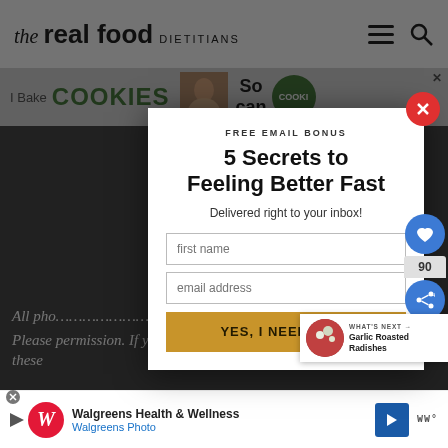the real food DIETITIANS
[Figure (screenshot): Advertisement banner showing 'I Bake COOKIES - So can' with a person's image]
[Figure (screenshot): Modal popup with free email bonus offer: 5 Secrets to Feeling Better Fast, with first name and email input fields and a YES, I NEED THIS! button]
All pho ... d.
Please ... permission. If you wish to republish any of these
[Figure (screenshot): Walgreens Health & Wellness / Walgreens Photo advertisement banner at the bottom]
[Figure (screenshot): WHAT'S NEXT arrow - Garlic Roasted Radishes widget on the right side]